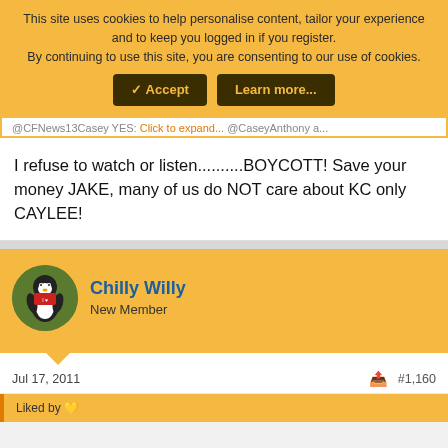This site uses cookies to help personalise content, tailor your experience and to keep you logged in if you register.
By continuing to use this site, you are consenting to our use of cookies.
✓ Accept   Learn more...
@CFNews13Casey YES: Click to expand... @CaseyAnthony a...
I refuse to watch or listen..........BOYCOTT! Save your money JAKE, many of us do NOT care about KC only CAYLEE!
Chilly Willy
New Member
Jul 17, 2011
#1,160